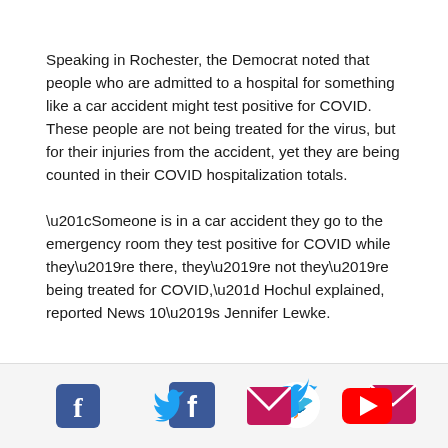Speaking in Rochester, the Democrat noted that people who are admitted to a hospital for something like a car accident might test positive for COVID. These people are not being treated for the virus, but for their injuries from the accident, yet they are being counted in their COVID hospitalization totals.
“Someone is in a car accident they go to the emergency room they test positive for COVID while they’re there, they’re not they’re being treated for COVID,” Hochul explained, reported News 10’s Jennifer Lewke.
[Figure (infographic): Social media sharing bar with icons for Facebook (blue), Twitter (blue bird), Email (pink envelope), and YouTube (red play button)]